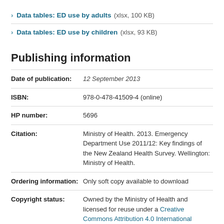> Data tables: ED use by adults (xlsx, 100 KB)
> Data tables: ED use by children (xlsx, 93 KB)
Publishing information
| Date of publication: | 12 September 2013 |
| ISBN: | 978-0-478-41509-4 (online) |
| HP number: | 5696 |
| Citation: | Ministry of Health. 2013. Emergency Department Use 2011/12: Key findings of the New Zealand Health Survey. Wellington: Ministry of Health. |
| Ordering information: | Only soft copy available to download |
| Copyright status: | Owned by the Ministry of Health and licensed for reuse under a Creative Commons Attribution 4.0 International Licence. |